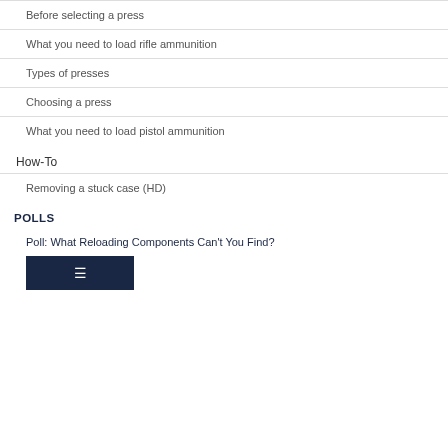Before selecting a press
What you need to load rifle ammunition
Types of presses
Choosing a press
What you need to load pistol ammunition
How-To
Removing a stuck case (HD)
POLLS
Poll: What Reloading Components Can't You Find?
[Figure (screenshot): Dark navy blue image thumbnail with a white icon]